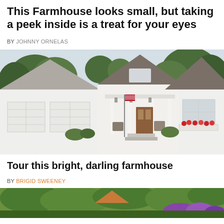This Farmhouse looks small, but taking a peek inside is a treat for your eyes
BY JOHNNY ORNELAS
[Figure (photo): Exterior front view of a white farmhouse with two-car garage, covered front porch with columns, dark wood front door, American flag, flower window boxes with red flowers, and trees in background.]
Tour this bright, darling farmhouse
BY BRIGID SWEENEY
[Figure (photo): Partial view of another house exterior with green trees and purple flowers visible at bottom of page.]